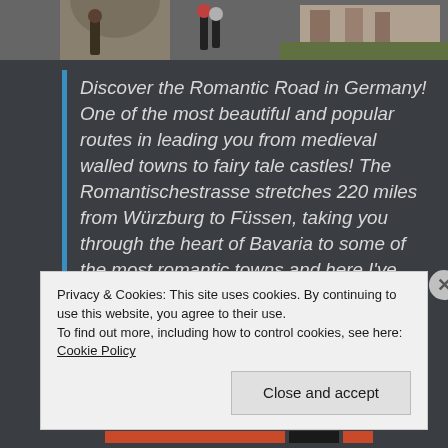[Figure (photo): Top photo strip showing a street scene, likely a German town with buildings and people]
Discover the Romantic Road in Germany! One of the most beautiful and popular routes in leading you from medieval walled towns to fairy tale castles! The Romantischestrasse stretches 220 miles from Würzburg to Füssen, taking you through the heart of Bavaria to some of the most romantic towns and here I've provided you with the perfect road trip for the Romantic Road!
Privacy & Cookies: This site uses cookies. By continuing to use this website, you agree to their use.
To find out more, including how to control cookies, see here: Cookie Policy
Close and accept